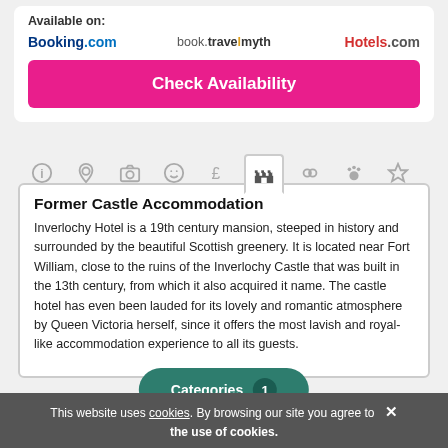Available on:
[Figure (logo): Booking.com, book.travelmyth, Hotels.com logos]
Check Availability
[Figure (infographic): Navigation tab icons: info, location, camera, face, pound, castle (active), heart, paws, star]
Former Castle Accommodation
Inverlochy Hotel is a 19th century mansion, steeped in history and surrounded by the beautiful Scottish greenery. It is located near Fort William, close to the ruins of the Inverlochy Castle that was built in the 13th century, from which it also acquired it name. The castle hotel has even been lauded for its lovely and romantic atmosphere by Queen Victoria herself, since it offers the most lavish and royal-like accommodation experience to all its guests.
Categories 1
This website uses cookies. By browsing our site you agree to the use of cookies.